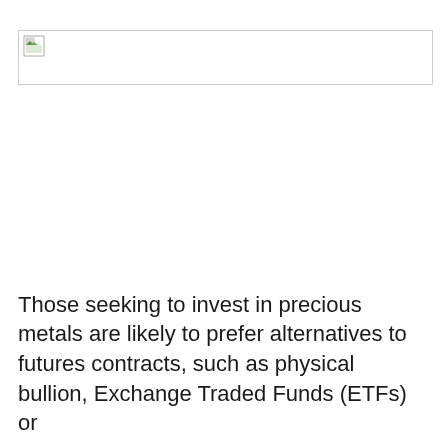[Figure (other): Broken/missing image placeholder with small landscape icon in top-left corner, bordered rectangle]
Those seeking to invest in precious metals are likely to prefer alternatives to futures contracts, such as physical bullion, Exchange Traded Funds (ETFs) or